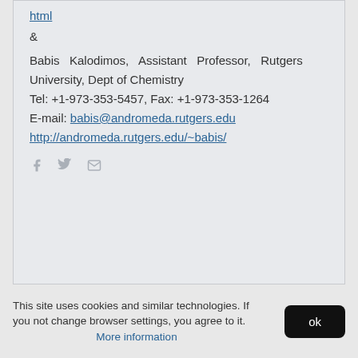html
&
Babis Kalodimos, Assistant Professor, Rutgers University, Dept of Chemistry
Tel: +1-973-353-5457, Fax: +1-973-353-1264
E-mail: babis@andromeda.rutgers.edu
http://andromeda.rutgers.edu/~babis/
[Figure (infographic): Social media icons: Facebook (f), Twitter (bird), Email (envelope)]
This site uses cookies and similar technologies. If you not change browser settings, you agree to it. More information